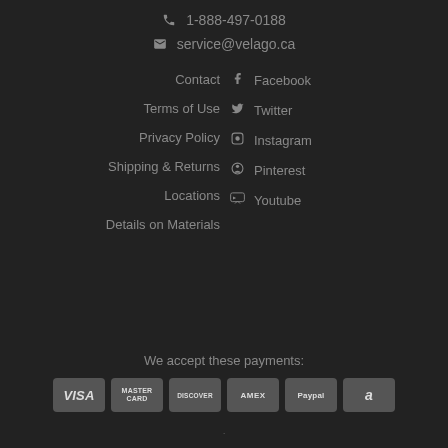📞 1-888-497-0188
✉ service@velago.ca
Contact
Terms of Use
Privacy Policy
Shipping & Returns
Locations
Details on Materials
f Facebook
Twitter
Instagram
Pinterest
Youtube
We accept these payments:
[Figure (infographic): Payment method icons: VISA, MASTERCARD, DISCOVER, AMEX, Paypal, Amazon]